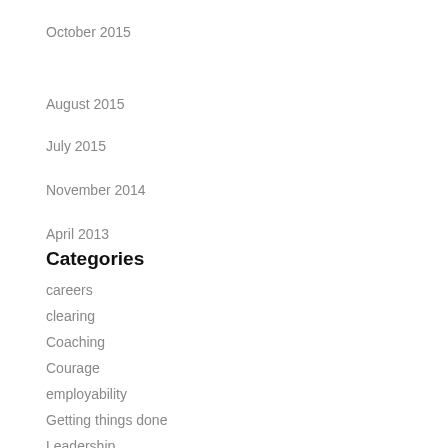October 2015
August 2015
July 2015
November 2014
April 2013
Categories
careers
clearing
Coaching
Courage
employability
Getting things done
Leadership
Leadership Blog page